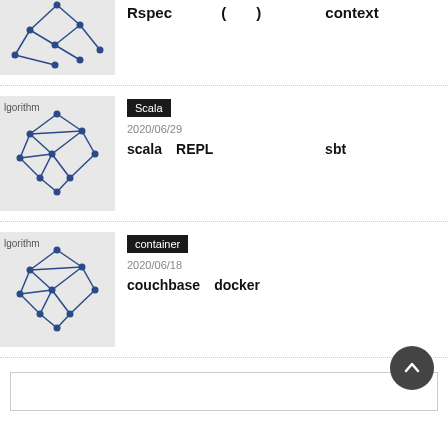[Figure (illustration): Network graph illustration (algorithm thumbnail) - partial view at top]
Rspec 　　　(　　)　　　　 context
[Figure (illustration): Network graph illustration with label 'lgorithm']
Scala
2020/06/29
scala　REPL　　　　　　　　sbt
[Figure (illustration): Network graph illustration with label 'lgorithm']
container
2020/06/18
couchbase　docker